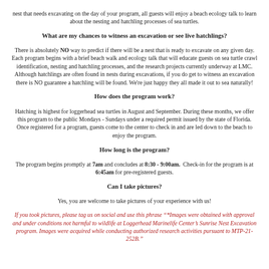nest that needs excavating on the day of your program, all guests will enjoy a beach ecology talk to learn about the nesting and hatchling processes of sea turtles.
What are my chances to witness an excavation or see live hatchlings?
There is absolutely NO way to predict if there will be a nest that is ready to excavate on any given day. Each program begins with a brief beach walk and ecology talk that will educate guests on sea turtle crawl identification, nesting and hatchling processes, and the research projects currently underway at LMC. Although hatchlings are often found in nests during excavations, if you do get to witness an excavation there is NO guarantee a hatchling will be found. We’re just happy they all made it out to sea naturally!
How does the program work?
Hatching is highest for loggerhead sea turtles in August and September. During these months, we offer this program to the public Mondays - Sundays under a required permit issued by the state of Florida. Once registered for a program, guests come to the center to check in and are led down to the beach to enjoy the program.
How long is the program?
The program begins promptly at 7am and concludes at 8:30 - 9:00am. Check-in for the program is at 6:45am for pre-registered guests.
Can I take pictures?
Yes, you are welcome to take pictures of your experience with us!
If you took pictures, please tag us on social and use this phrase “*Images were obtained with approval and under conditions not harmful to wildlife at Loggerhead Marinelife Center's Sunrise Nest Excavation program. Images were acquired while conducting authorized research activities pursuant to MTP-21-252B.”